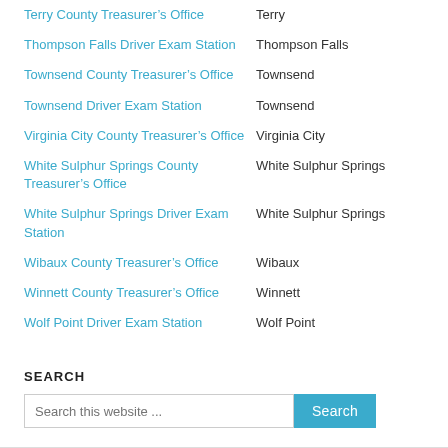| Office | City |
| --- | --- |
| Terry County Treasurer’s Office | Terry |
| Thompson Falls Driver Exam Station | Thompson Falls |
| Townsend County Treasurer’s Office | Townsend |
| Townsend Driver Exam Station | Townsend |
| Virginia City County Treasurer’s Office | Virginia City |
| White Sulphur Springs County Treasurer’s Office | White Sulphur Springs |
| White Sulphur Springs Driver Exam Station | White Sulphur Springs |
| Wibaux County Treasurer’s Office | Wibaux |
| Winnett County Treasurer’s Office | Winnett |
| Wolf Point Driver Exam Station | Wolf Point |
SEARCH
Search this website ...